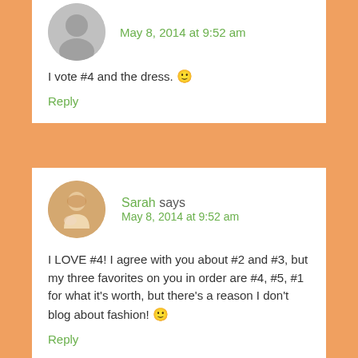I vote #4 and the dress. 🙂
Reply
Sarah says
May 8, 2014 at 9:52 am
I LOVE #4! I agree with you about #2 and #3, but my three favorites on you in order are #4, #5, #1 for what it's worth, but there's a reason I don't blog about fashion! 🙂
Reply